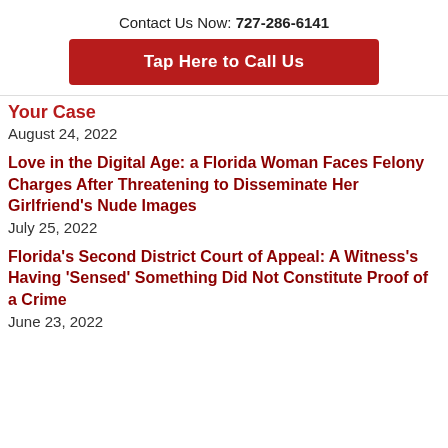Contact Us Now: 727-286-6141
Tap Here to Call Us
Your Case
August 24, 2022
Love in the Digital Age: a Florida Woman Faces Felony Charges After Threatening to Disseminate Her Girlfriend’s Nude Images
July 25, 2022
Florida’s Second District Court of Appeal: A Witness’s Having ‘Sensed’ Something Did Not Constitute Proof of a Crime
June 23, 2022